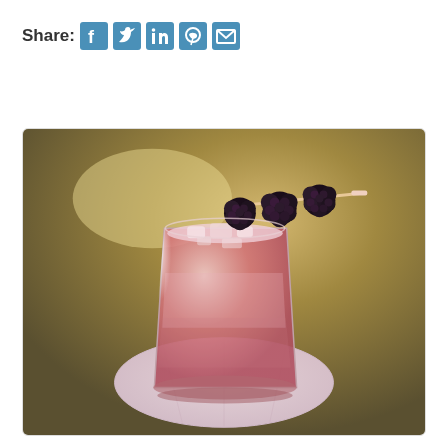Share:
[Figure (photo): A pink/rose cocktail in a rocks glass with crushed ice, garnished with blackberries on a skewer, sitting on a pink cocktail napkin on a metallic/golden surface.]